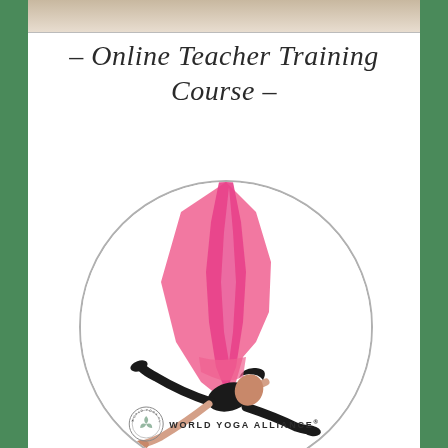- Online Teacher Training Course -
[Figure (illustration): Person performing aerial yoga, suspended in pink/magenta fabric hammock, wearing black outfit, head tilted back, arms spread, inside a circular border. World Yoga Alliance logo and text at bottom.]